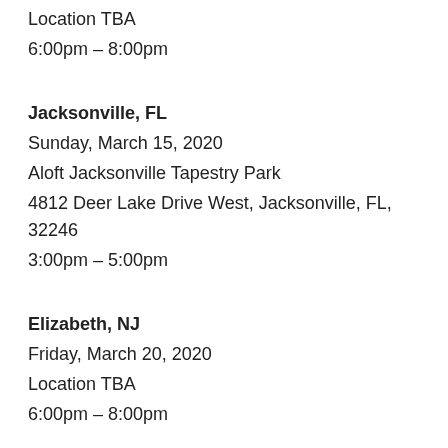Location TBA
6:00pm – 8:00pm
Jacksonville, FL
Sunday, March 15, 2020
Aloft Jacksonville Tapestry Park
4812 Deer Lake Drive West, Jacksonville, FL, 32246
3:00pm – 5:00pm
Elizabeth, NJ
Friday, March 20, 2020
Location TBA
6:00pm – 8:00pm
Philadelphia, PA